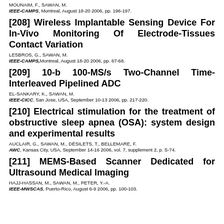MOUNAIM, F., SAWAN, M.
IEEE-CAMPS, Montreal, August 18-20 2006, pp. 196-197.
[208] Wireless Implantable Sensing Device For In-Vivo Monitoring Of Electrode-Tissues Contact Variation
LESBROS, G., SAWAN, M.
IEEE-CAMPS, Montreal, August 18-20 2006, pp. 67-68.
[209] 10-b 100-MS/s Two-Channel Time-Interleaved Pipelined ADC
EL-SANKARY, K., SAWAN, M.
IEEE-CICC, San Jose, USA, September 10-13 2006, pp. 217-220.
[210] Electrical stimulation for the treatment of obstructive sleep apnea (OSA): system design and experimental results
AUCLAIR, G., SAWAN, M., DÉSILETS, T., BELLEMARE, F.
AWC, Kansas City, USA, September 14-16 2006, vol. 7, supplement 2, p. S-74.
[211] MEMS-Based Scanner Dedicated for Ultrasound Medical Imaging
HAJJ-HASSAN, M., SAWAN, M., PETER, Y.-A.
IEEE-MWSCAS, Puerto-Rico, August 6-9 2006, pp. 100-103.